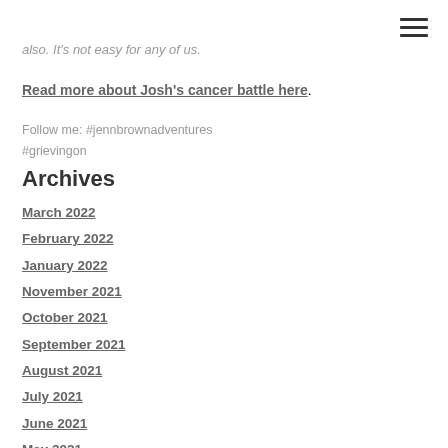also. It's not easy for any of us.
Read more about Josh's cancer battle here.
Follow me: #jennbrownadventures
#grievingon
Archives
March 2022
February 2022
January 2022
November 2021
October 2021
September 2021
August 2021
July 2021
June 2021
May 2021